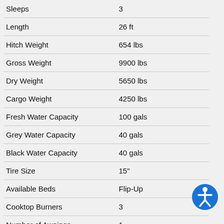| Specification | Value |
| --- | --- |
| Sleeps | 3 |
| Length | 26 ft |
| Hitch Weight | 654 lbs |
| Gross Weight | 9900 lbs |
| Dry Weight | 5650 lbs |
| Cargo Weight | 4250 lbs |
| Fresh Water Capacity | 100 gals |
| Grey Water Capacity | 40 gals |
| Black Water Capacity | 40 gals |
| Tire Size | 15" |
| Available Beds | Flip-Up |
| Cooktop Burners | 3 |
| Number of Awnings | 1 |
| Axle Weight | 4615 lbs |
| Garage Size | 13 ft 11 in |
| Awning Info | 16' |
[Figure (infographic): Accessibility icon — blue circle with white human figure symbol]